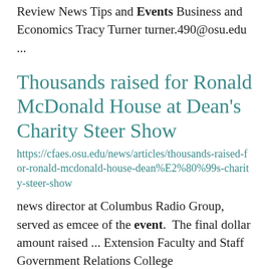Review News Tips and Events Business and Economics Tracy Turner turner.490@osu.edu ...
Thousands raised for Ronald McDonald House at Dean's Charity Steer Show
https://cfaes.osu.edu/news/articles/thousands-raised-for-ronald-mcdonald-house-dean%E2%80%99s-charity-steer-show
news director at Columbus Radio Group, served as emcee of the event. The final dollar amount raised ... Extension Faculty and Staff Government Relations College Events/Announcements Sherrie R. Whaley